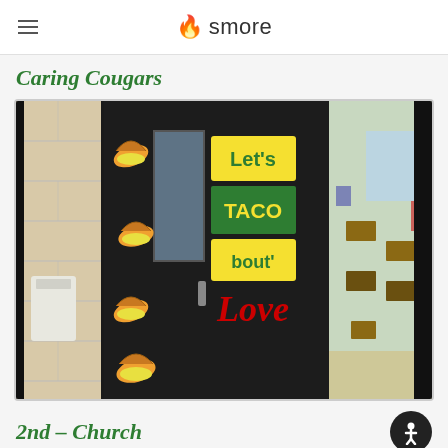smore
Caring Cougars
[Figure (photo): A decorated classroom door painted black with taco illustrations and string lights. Signs on the door read 'Let's TACO bout' Love' in colorful lettering on yellow and green backgrounds. The door has a narrow glass window. A classroom with desks is visible through the adjacent open door on the right.]
2nd – Church